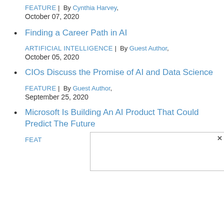FEATURE | By Cynthia Harvey, October 07, 2020
Finding a Career Path in AI
ARTIFICIAL INTELLIGENCE | By Guest Author, October 05, 2020
CIOs Discuss the Promise of AI and Data Science
FEATURE | By Guest Author, September 25, 2020
Microsoft Is Building An AI Product That Could Predict The Future
FEAT